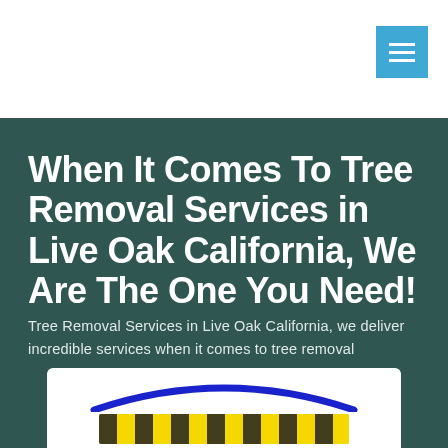When It Comes To Tree Removal Services in Live Oak California, We Are The One You Need!
Tree Removal Services in Live Oak California, we deliver incredible services when it comes to tree removal
[Figure (logo): Company logo with blue arc and yellow banner with dark stripes at the bottom of the hero section]